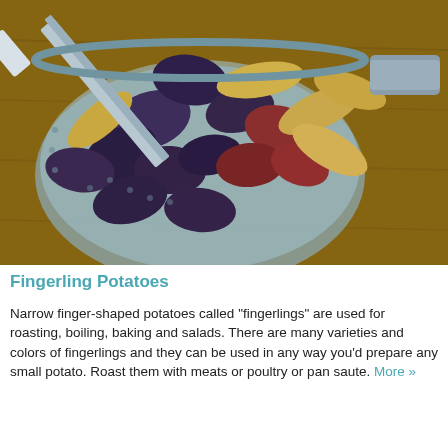[Figure (photo): Fingerling potatoes of various colors (purple, red, yellow) in a blue colander with a knife on a wooden surface]
Fingerling Potatoes
Narrow finger-shaped potatoes called "fingerlings" are used for roasting, boiling, baking and salads. There are many varieties and colors of fingerlings and they can be used in any way you'd prepare any small potato. Roast them with meats or poultry or pan saute. More »
This website uses cookies to ensure you get the best experience on our website.
Learn more
Recommend: This Diabetes Treatment Will
n/a